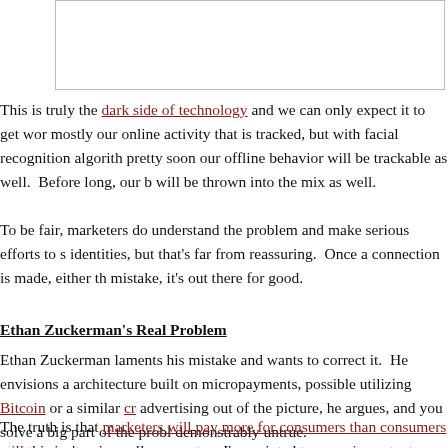[Figure (other): Empty white box with border at top of page]
This is truly the dark side of technology and we can only expect it to get wor mostly our online activity that is tracked, but with facial recognition algorith pretty soon our offline behavior will be trackable as well.  Before long, our b will be thrown into the mix as well.
To be fair, marketers do understand the problem and make serious efforts to s identities, but that's far from reassuring.  Once a connection is made, either th mistake, it's out there for good.
Ethan Zuckerman's Real Problem
Ethan Zuckerman laments his mistake and wants to correct it.  He envisions a architecture built on micropayments, possible utilizing Bitcoin or a similar cr advertising out of the picture, he argues, and you solve a big part of the probl demonstrably untrue.
The truth is that marketers will pay more for consumers than consumers will this isn't universally accurate—I've pointed to some important exceptions in